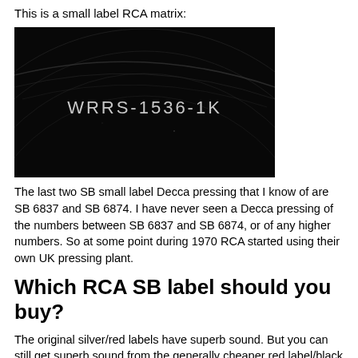This is a small label RCA matrix:
[Figure (photo): Close-up photo of a vinyl record matrix area showing the text 'WRRS-1536-1K' etched/stamped on the dark surface with groove lines visible]
The last two SB small label Decca pressing that I know of are SB 6837 and SB 6874. I have never seen a Decca pressing of the numbers between SB 6837 and SB 6874, or of any higher numbers. So at some point during 1970 RCA started using their own UK pressing plant.
Which RCA SB label should you buy?
The original silver/red labels have superb sound. But you can still get superb sound from the generally cheaper red label/black spot. As with SXL & ASD, the second label, whether it's original or not, can be very good value with little or no deterioration in sound quality. With the small label, if it's original, you've still got good sound. But I have at times been disappointed with the sound, when the small label is the third label or the original is...